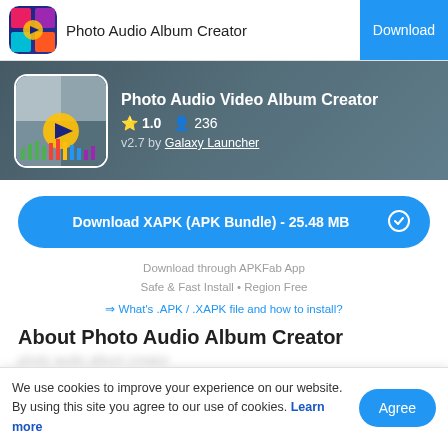Photo Audio Album Creator | Download
[Figure (screenshot): App banner showing Photo Audio Video Album Creator with rating 1.0, 236 installs, v2.7 by Galaxy Launcher]
Download XAPK (APK Bundle) - 25.48 MB
Download through APKFab App
Safe & Fast Install • Region Free
⇒ What's .APK / .XAPK file and how to install?
About Photo Audio Album Creator
We use cookies to improve your experience on our website. By using this site you agree to our use of cookies. Learn more